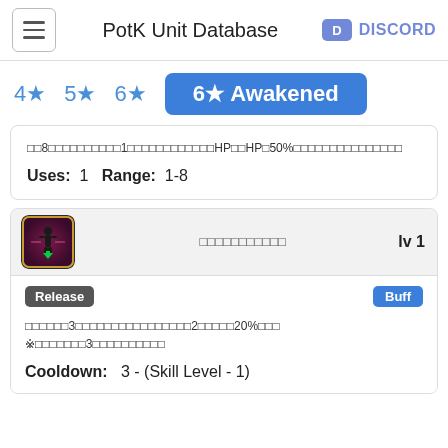PotK Unit Database DISCORD
4★
5★
6★
6★ Awakened
□□8□□□□□□□□□□1□□□□□□□□□□□□HP□□HP□50%□□□□□□□□□□□□□□□
Uses:  1  Range:  1-8
□□□□□□□□□□□ lv 1
Release  Buff
□□□□□□3□□□□□□□□□□□□□□□□2□□□□□20%□□□ ※□□□□□□□3□□□□□□□□□
Cooldown:   3 - (Skill Level - 1)